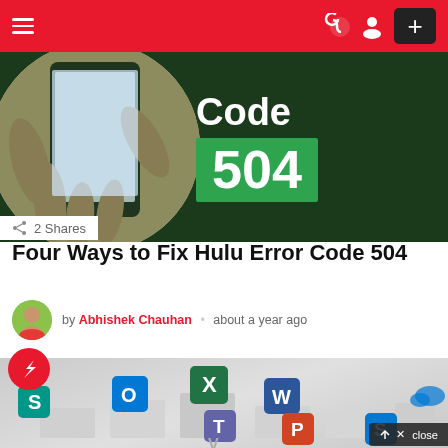Navigation bar with hamburger menu, dark mode icon, user icon, and plus button
[Figure (photo): Hero image showing hands holding a smartphone on left, and 'Code 504' text on dark green background on right]
2 Shares
Four Ways to Fix Hulu Error Code 504
by Abhishek Chauhan • about a year ago
[Figure (photo): Microsoft Office 365 app icons (Outlook, Excel, Word, Teams, PowerPoint, SharePoint, OneDrive) floating on white pedestals with a red BuzzFeed badge in top-left corner]